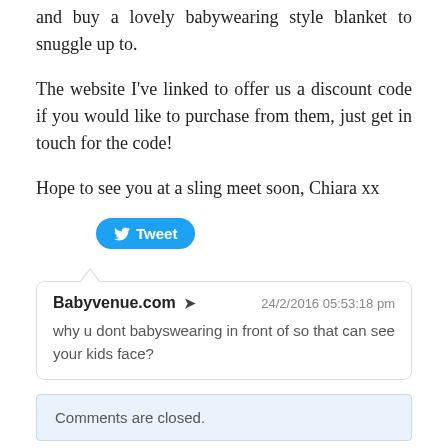and buy a lovely babywearing style blanket to snuggle up to.
The website I've linked to offer us a discount code if you would like to purchase from them, just get in touch for the code!
Hope to see you at a sling meet soon, Chiara xx
[Figure (other): Tweet button (Twitter share button)]
Babyvenue.com → 24/2/2016 05:53:18 pm
why u dont babyswearing in front of so that can see your kids face?
Comments are closed.
Archives